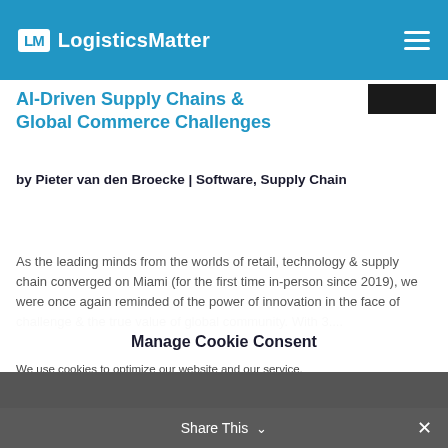LogisticsMatter
Global Commerce Challenges
by Pieter van den Broecke | Software, Supply Chain
As the leading minds from the worlds of retail, technology & supply chain converged on Miami (for the first time in-person since 2019), we were once again reminded of the power of innovation in the face of challenge & the true value of global community. With 3....
Manage Cookie Consent
We use cookies to optimize our website and our service.
Accept
Deny
Share This